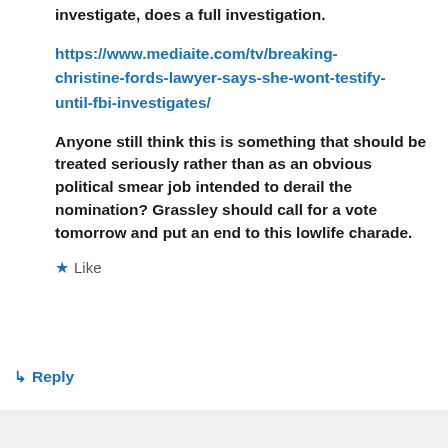investigate, does a full investigation.
https://www.mediaite.com/tv/breaking-christine-fords-lawyer-says-she-wont-testify-until-fbi-investigates/
Anyone still think this is something that should be treated seriously rather than as an obvious political smear job intended to derail the nomination? Grassley should call for a vote tomorrow and put an end to this lowlife charade.
★ Like
↳ Reply